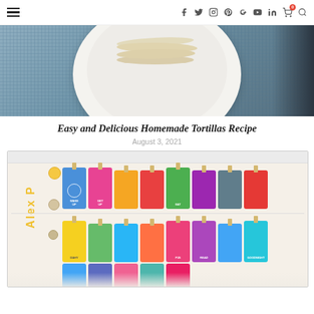Navigation bar with hamburger menu and social icons
[Figure (photo): Top-down photo of homemade tortillas stacked on a white plate with a blue woven placemat underneath]
Easy and Delicious Homemade Tortillas Recipe
August 3, 2021
[Figure (photo): Children's chore chart board labeled 'Alex P' with colorful task cards clipped with wooden clothespins showing daily routine tasks]